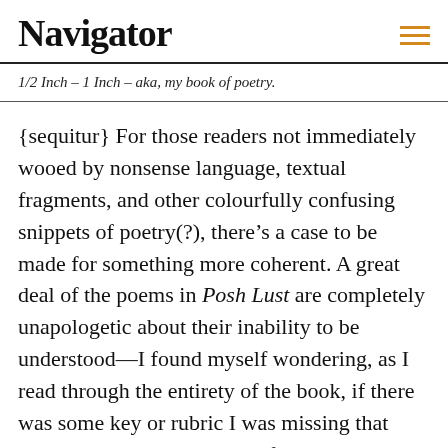Navigator
1/2 Inch – 1 Inch – aka, my book of poetry.
{sequitur} For those readers not immediately wooed by nonsense language, textual fragments, and other colourfully confusing snippets of poetry(?), there's a case to be made for something more coherent. A great deal of the poems in Posh Lust are completely unapologetic about their inability to be understood—I found myself wondering, as I read through the entirety of the book, if there was some key or rubric I was missing that might help me make sense of the more